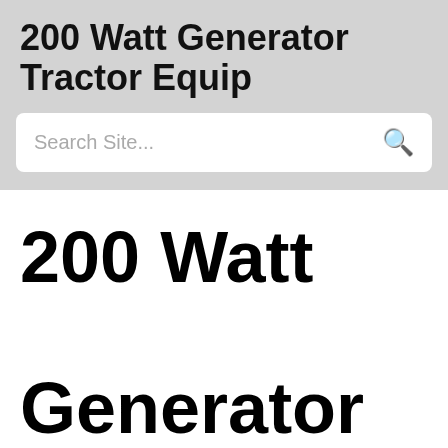200 Watt Generator Tractor Equip
Search Site...
200 Watt Generator